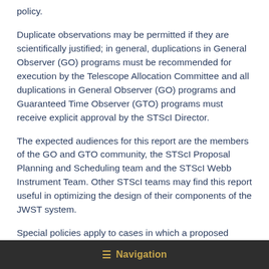policy.
Duplicate observations may be permitted if they are scientifically justified; in general, duplications in General Observer (GO) programs must be recommended for execution by the Telescope Allocation Committee and all duplications in General Observer (GO) programs and Guaranteed Time Observer (GTO) programs must receive explicit approval by the STScI Director.
The expected audiences for this report are the members of the GO and GTO community, the STScI Proposal Planning and Scheduling team and the STScI Webb Instrument Team. Other STScI teams may find this report useful in optimizing the design of their components of the JWST system.
Special policies apply to cases in which a proposed
≡ Navigation